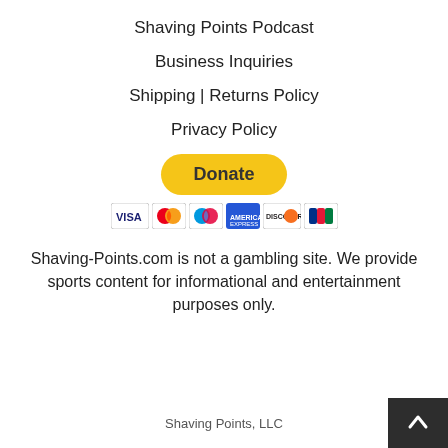Shaving Points Podcast
Business Inquiries
Shipping | Returns Policy
Privacy Policy
[Figure (other): PayPal Donate button with accepted payment card icons (Visa, Mastercard, Maestro, American Express, Discover, JCB)]
Shaving-Points.com is not a gambling site. We provide sports content for informational and entertainment purposes only.
Shaving Points, LLC